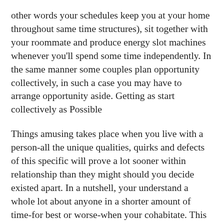other words your schedules keep you at your home throughout same time structures), sit together with your roommate and produce energy slot machines whenever you'll spend some time independently. In the same manner some couples plan opportunity collectively, in such a case you may have to arrange opportunity aside. Getting as start collectively as Possible
Things amusing takes place when you live with a person-all the unique qualities, quirks and defects of this specific will prove a lot sooner within relationship than they might should you decide existed apart. In a nutshell, your understand a whole lot about anyone in a shorter amount of time-for best or worse-when your cohabitate. This will found by itself as hard when you're romantically a part of your own roomie. That's why it's necessary for you both become as available and sincere with each other as you are able to. Beginning with a roommate arrangement helps. It's smart to take a seat collectively and discuss each person's dog peeves and flaws. It's good to